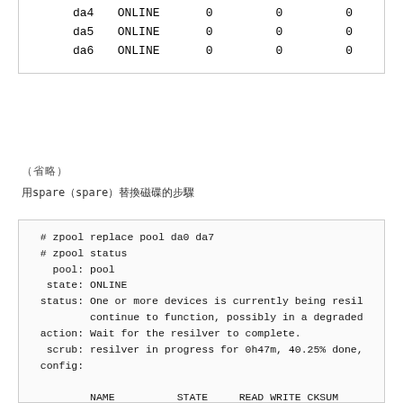|  | STATE | READ | WRITE | CKSUM |
| --- | --- | --- | --- | --- |
| da4 | ONLINE | 0 | 0 | 0 |
| da5 | ONLINE | 0 | 0 | 0 |
| da6 | ONLINE | 0 | 0 | 0 |
（省略）
用spare（spare）替換磁碟的步驟
# zpool replace pool da0 da7
# zpool status
  pool: pool
 state: ONLINE
status: One or more devices is currently being resil
        continue to function, possibly in a degraded
action: Wait for the resilver to complete.
 scrub: resilver in progress for 0h47m, 40.25% done,
config:

        NAME          STATE     READ WRITE CKSUM
        pool          ONLINE       0     0     0
| NAME | STATE | READ | WRITE | CKSUM |
| --- | --- | --- | --- | --- |
| pool | ONLINE | 0 | 0 | 0 |